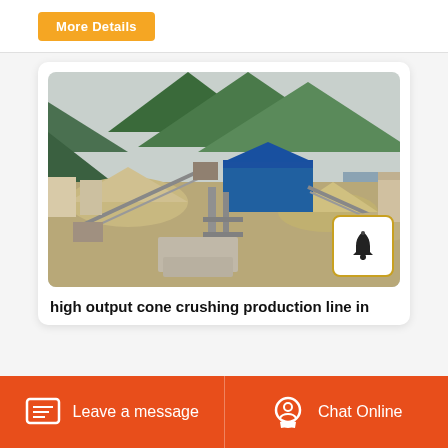More Details
[Figure (photo): Outdoor view of a high output cone crushing production line facility with conveyor belts, machinery, gravel piles, and green mountains in the background]
high output cone crushing production line in
Leave a message
Chat Online